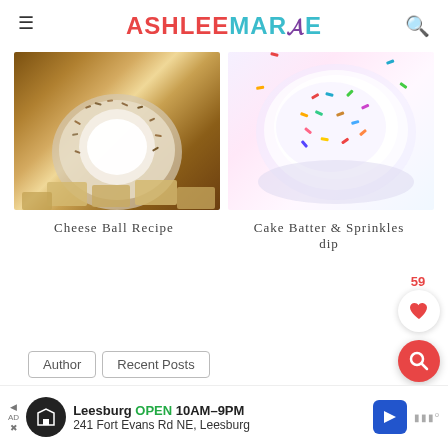ASHLEE MARIE
[Figure (photo): Cheese ball covered in chopped nuts with crackers on a wooden board]
[Figure (photo): Cake batter and sprinkles dip in a clear bowl with colorful sprinkles]
Cheese Ball Recipe
Cake Batter & Sprinkles dip
59
Author   Recent Posts
[Figure (infographic): Advertisement banner: Leesburg OPEN 10AM-9PM, 241 Fort Evans Rd NE, Leesburg]